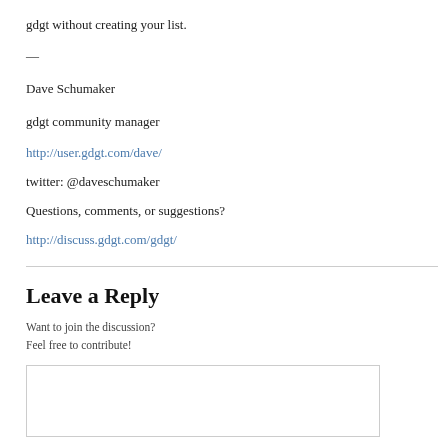gdgt without creating your list.
—
Dave Schumaker
gdgt community manager
http://user.gdgt.com/dave/
twitter: @daveschumaker
Questions, comments, or suggestions?
http://discuss.gdgt.com/gdgt/
Leave a Reply
Want to join the discussion?
Feel free to contribute!